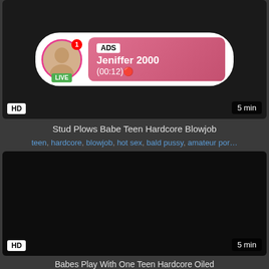[Figure (screenshot): Video thumbnail with HD badge, 5 min badge, and advertisement overlay showing avatar with LIVE badge, ADS label, name Jeniffer 2000, and time (00:12)]
Stud Plows Babe Teen Hardcore Blowjob
teen, hardcore, blowjob, hot sex, bald pussy, amateur por...
[Figure (screenshot): Dark video thumbnail with HD badge and 5 min badge]
Babes Play With One Teen Hardcore Oiled